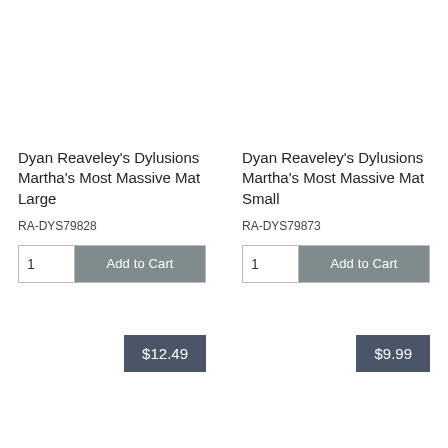Dyan Reaveley's Dylusions Martha's Most Massive Mat Large
RA-DYS79828
1   Add to Cart
$12.49
Dyan Reaveley's Dylusions Martha's Most Massive Mat Small
RA-DYS79873
1   Add to Cart
$9.99